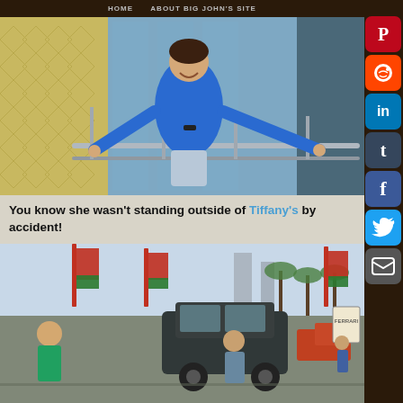HOME   ABOUT BIG JOHN'S SITE
[Figure (photo): Woman in blue sleeveless top smiling and posing with arms spread at the entrance of Tiffany & Co. store, with decorative yellow patterned wall on the left and glass facade in the background.]
You know she wasn't standing outside of Tiffany's by accident!
[Figure (photo): Street scene with a woman in foreground, large black SUV, colorful flags on poles, palm trees, tall buildings in background, and people walking on the street.]